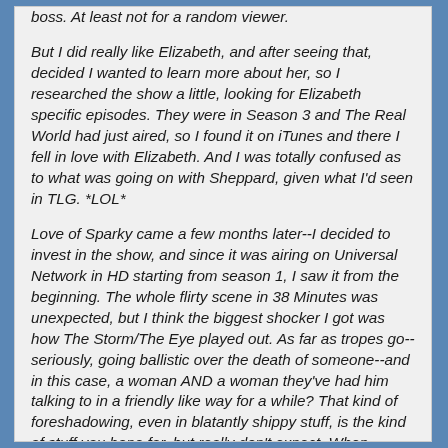boss. At least not for a random viewer.

But I did really like Elizabeth, and after seeing that, decided I wanted to learn more about her, so I researched the show a little, looking for Elizabeth specific episodes. They were in Season 3 and The Real World had just aired, so I found it on iTunes and there I fell in love with Elizabeth. And I was totally confused as to what was going on with Sheppard, given what I'd seen in TLG. *LOL*

Love of Sparky came a few months later--I decided to invest in the show, and since it was airing on Universal Network in HD starting from season 1, I saw it from the beginning. The whole flirty scene in 38 Minutes was unexpected, but I think the biggest shocker I got was how The Storm/The Eye played out. As far as tropes go--seriously, going ballistic over the death of someone--and in this case, a woman AND a woman they've had him talking to in a friendly like way for a while? That kind of foreshadowing, even in blatantly shippy stuff, is the kind of stuff you hope for, but really don't expect. When Sheppard did it I was totally confused, and wondering 'where exactly are these guys going...